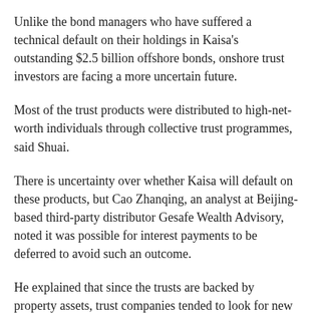Unlike the bond managers who have suffered a technical default on their holdings in Kaisa's outstanding $2.5 billion offshore bonds, onshore trust investors are facing a more uncertain future.
Most of the trust products were distributed to high-net-worth individuals through collective trust programmes, said Shuai.
There is uncertainty over whether Kaisa will default on these products, but Cao Zhanqing, an analyst at Beijing-based third-party distributor Gesafe Wealth Advisory, noted it was possible for interest payments to be deferred to avoid such an outcome.
He explained that since the trusts are backed by property assets, trust companies tended to look for new buyers...